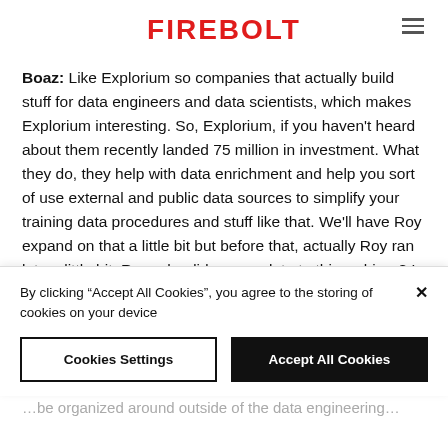FIREBOLT
Boaz: Like Explorium so companies that actually build stuff for data engineers and data scientists, which makes Explorium interesting. So, Explorium, if you haven't heard about them recently landed 75 million in investment. What they do, they help with data enrichment and help you sort of use external and public data sources to simplify your training data procedures and stuff like that. We'll have Roy expand on that a little bit but before that, actually Roy ran late a little bit. Roy, why did you run late to this webinar? I think you have a story for us.
By clicking “Accept All Cookies”, you agree to the storing of cookies on your device
Cookies Settings
Accept All Cookies